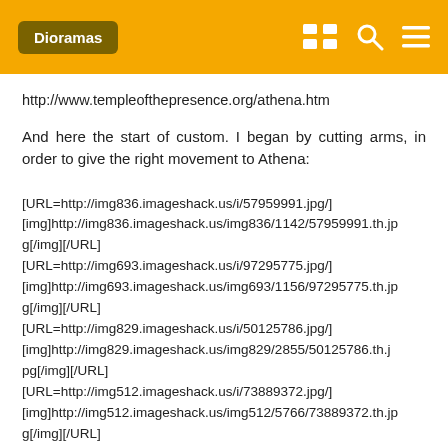Dioramas
http://www.templeofthepresence.org/athena.htm
And here the start of custom. I began by cutting arms, in order to give the right movement to Athena:
[URL=http://img836.imageshack.us/i/57959991.jpg/][img]http://img836.imageshack.us/img836/1142/57959991.th.jpg[/img][/URL]
[URL=http://img693.imageshack.us/i/97295775.jpg/][img]http://img693.imageshack.us/img693/1156/97295775.th.jpg[/img][/URL]
[URL=http://img829.imageshack.us/i/50125786.jpg/][img]http://img829.imageshack.us/img829/2855/50125786.th.jpg[/img][/URL]
[URL=http://img512.imageshack.us/i/73889372.jpg/][img]http://img512.imageshack.us/img512/5766/73889372.th.jpg[/img][/URL]
[URL=http://img87...